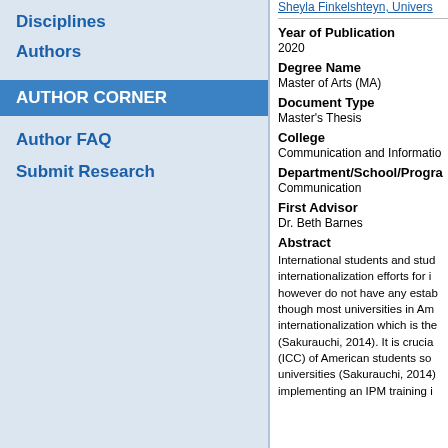Disciplines
Authors
AUTHOR CORNER
Author FAQ
Submit Research
Sheyla Finkelshteyn, Univers...
Year of Publication
2020
Degree Name
Master of Arts (MA)
Document Type
Master's Thesis
College
Communication and Informatio...
Department/School/Progra...
Communication
First Advisor
Dr. Beth Barnes
Abstract
International students and stud... internationalization efforts for i... however do not have any estab... though most universities in Am... internationalization which is the... (Sakurauchi, 2014). It is crucia... (ICC) of American students so... universities (Sakurauchi, 2014... implementing an IPM training i...